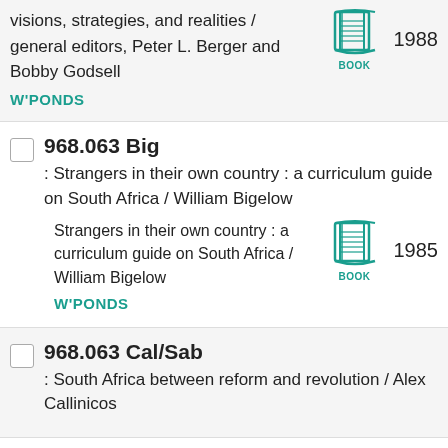visions, strategies, and realities / general editors, Peter L. Berger and Bobby Godsell
W'PONDS
1988
968.063 Big
: Strangers in their own country : a curriculum guide on South Africa / William Bigelow
Strangers in their own country : a curriculum guide on South Africa / William Bigelow
W'PONDS 1985
968.063 Cal/Sab
: South Africa between reform and revolution / Alex Callinicos